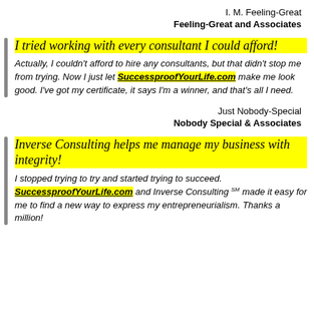I. M. Feeling-Great
Feeling-Great and Associates
I tried working with every consultant I could afford!
Actually, I couldn't afford to hire any consultants, but that didn't stop me from trying. Now I just let SuccessproofYourLife.com make me look good. I've got my certificate, it says I'm a winner, and that's all I need.
Just Nobody-Special
Nobody Special & Associates
Inverse Consulting helps me manage my business with integrity!
I stopped trying to try and started trying to succeed. SuccessproofYourLife.com and Inverse Consulting ℠ made it easy for me to find a new way to express my entrepreneurialism. Thanks a million!